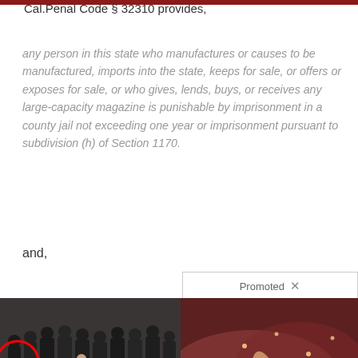Cal.Penal Code § 32310 provides,
any person in this state who manufactures or causes to be manufactured, imports into the state, keeps for sale, or offers or exposes for sale, or who gives, lends, buys, or receives any large-capacity magazine is punishable by imprisonment in a county jail not exceeding one year or imprisonment pursuant to subdivision (h) of Section 1170.
and,
[Figure (screenshot): Promoted advertisement area showing two images side by side: left image shows a group of people in suits with a red circle highlight and video play button overlay; right image shows a close-up medical/biological image. Below, a popup card shows a photo of an elderly man with text 'A Tragic End Today For Willie Nelson' and 'Breaking News'. Partial text visible: 'Bi... Th... US... To...' and 'ow'.]